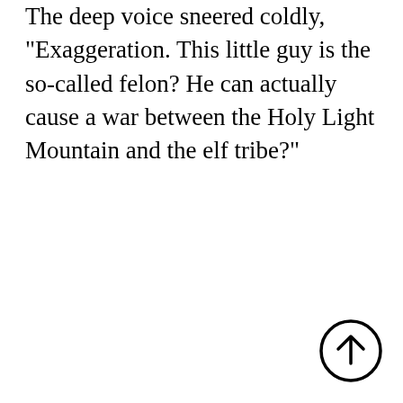The deep voice sneered coldly, "Exaggeration. This little guy is the so-called felon? He can actually cause a war between the Holy Light Mountain and the elf tribe?"
[Figure (other): Circular arrow icon pointing upward (back-to-top button)]